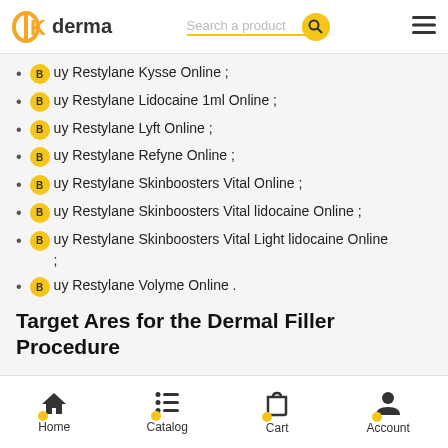DK derma | Search a product
Buy Restylane Kysse Online ;
Buy Restylane Lidocaine 1ml Online ;
Buy Restylane Lyft Online ;
Buy Restylane Refyne Online ;
Buy Restylane Skinboosters Vital Online ;
Buy Restylane Skinboosters Vital lidocaine Online ;
Buy Restylane Skinboosters Vital Light lidocaine Online ;
Buy Restylane Volyme Online .
Target Ares for the Dermal Filler Procedure
Home  Catalog  Cart  Account